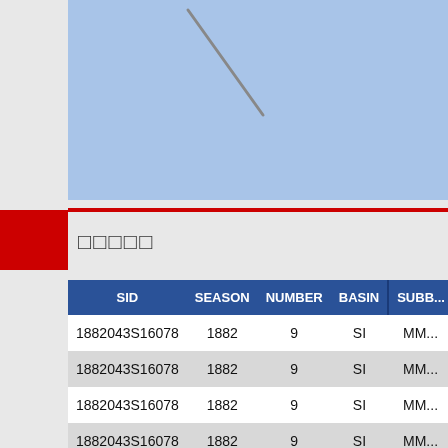[Figure (map): A map with light blue background representing ocean/water area, with a grey diagonal line possibly indicating a storm track or path.]
□□□□□
| SID | SEASON | NUMBER | BASIN | SUBB... |
| --- | --- | --- | --- | --- |
| 1882043S16078 | 1882 | 9 | SI | MM... |
| 1882043S16078 | 1882 | 9 | SI | MM... |
| 1882043S16078 | 1882 | 9 | SI | MM... |
| 1882043S16078 | 1882 | 9 | SI | MM... |
| 1882043S16078 | 1882 | 9 | SI | MM... |